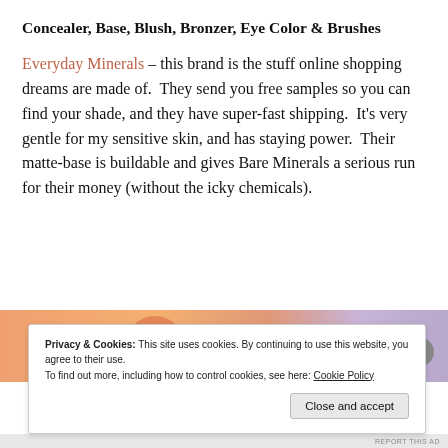Concealer, Base, Blush, Bronzer, Eye Color & Brushes
Everyday Minerals – this brand is the stuff online shopping dreams are made of.  They send you free samples so you can find your shade, and they have super-fast shipping.  It's very gentle for my sensitive skin, and has staying power.  Their matte-base is buildable and gives Bare Minerals a serious run for their money (without the icky chemicals).
[Figure (photo): Partial image of makeup products in orange, peach, and lavender tones, partially obscured by cookie consent banner]
Privacy & Cookies: This site uses cookies. By continuing to use this website, you agree to their use.
To find out more, including how to control cookies, see here: Cookie Policy
Close and accept